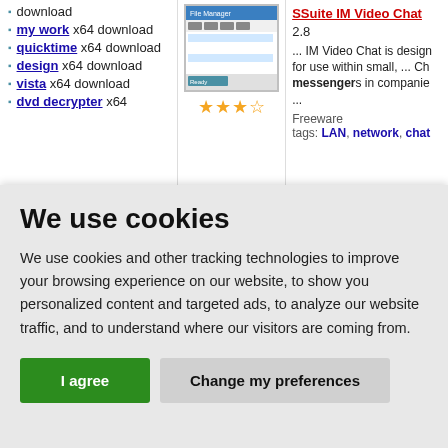download
my work x64 download
quicktime x64 download
design x64 download
vista x64 download
dvd decrypter x64
[Figure (screenshot): Software screenshot with star rating]
SSuite IM Video Chat 2.8... IM Video Chat is designed for use within small, ... Chat messengers in companies ...
Freeware
tags: LAN, network, chat
We use cookies
We use cookies and other tracking technologies to improve your browsing experience on our website, to show you personalized content and targeted ads, to analyze our website traffic, and to understand where our visitors are coming from.
I agree
Change my preferences